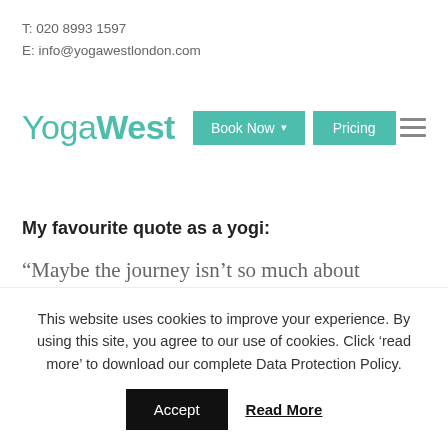T: 020 8993 1597
E: info@yogawestlondon.com
[Figure (logo): YogaWest logo with 'Book Now' dropdown button and 'Pricing' button in teal, and a hamburger menu icon on the right]
My favourite quote as a yogi:
“Maybe the journey isn’t so much about becoming, maybe it is about unbecoming everything that isn’t really you, so you can be
This website uses cookies to improve your experience. By using this site, you agree to our use of cookies. Click ‘read more’ to download our complete Data Protection Policy.